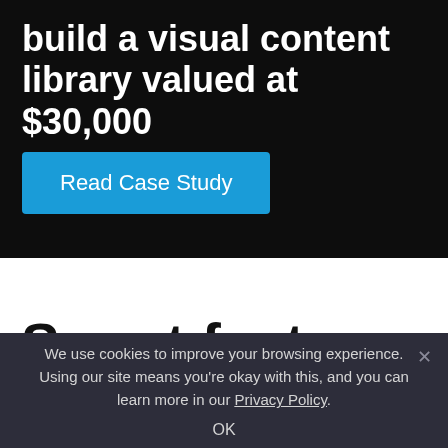build a visual content library valued at $30,000
Read Case Study
Smart features
We use cookies to improve your browsing experience. Using our site means you're okay with this, and you can learn more in our Privacy Policy.
OK